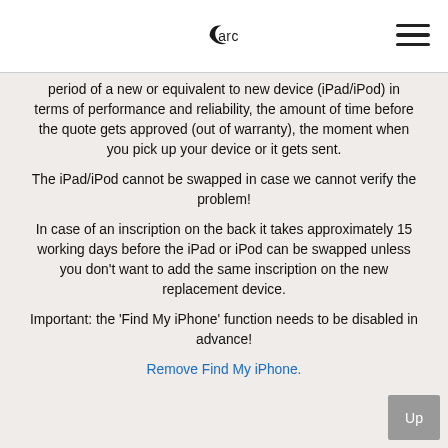arc
period of a new or equivalent to new device (iPad/iPod) in terms of performance and reliability, the amount of time before the quote gets approved (out of warranty), the moment when you pick up your device or it gets sent.
The iPad/iPod cannot be swapped in case we cannot verify the problem!
In case of an inscription on the back it takes approximately 15 working days before the iPad or iPod can be swapped unless you don't want to add the same inscription on the new replacement device.
Important: the 'Find My iPhone' function needs to be disabled in advance!
Remove Find My iPhone.